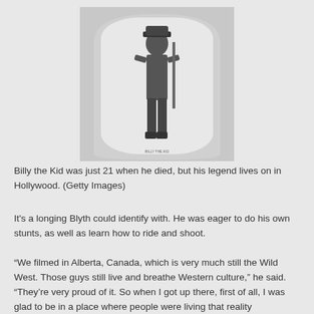[Figure (photo): Black and white photograph of Billy the Kid, a young man standing in full length, wearing a hat, vest, and boots, holding a rifle, with an arched vignette border around the image.]
Billy the Kid was just 21 when he died, but his legend lives on in Hollywood. (Getty Images)
It's a longing Blyth could identify with. He was eager to do his own stunts, as well as learn how to ride and shoot.
“We filmed in Alberta, Canada, which is very much still the Wild West. Those guys still live and breathe Western culture,” he said. “They’re very proud of it. So when I got up there, first of all, I was glad to be in a place where people were living that reality